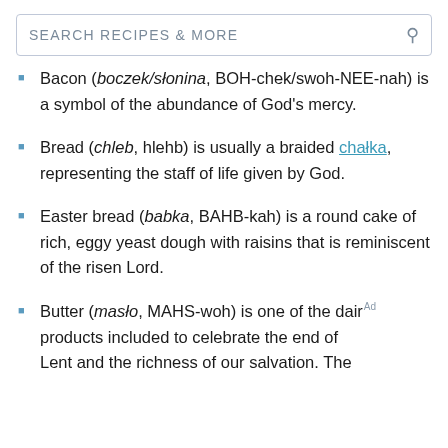SEARCH RECIPES & MORE
Bacon (boczek/słonina, BOH-chek/swoh-NEE-nah) is a symbol of the abundance of God's mercy.
Bread (chleb, hlehb) is usually a braided chałka, representing the staff of life given by God.
Easter bread (babka, BAHB-kah) is a round cake of rich, eggy yeast dough with raisins that is reminiscent of the risen Lord.
Butter (masło, MAHS-woh) is one of the dairy products included to celebrate the end of Lent and the richness of our salvation. The